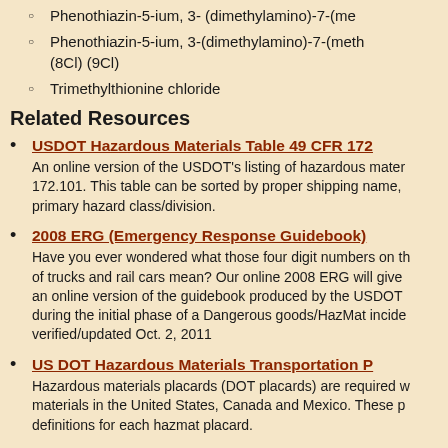Phenothiazin-5-ium, 3- (dimethylamino)-7-(me…
Phenothiazin-5-ium, 3-(dimethylamino)-7-(met… (8Cl) (9Cl)
Trimethylthionine chloride
Related Resources
USDOT Hazardous Materials Table 49 CFR 172… An online version of the USDOT's listing of hazardous mate… 172.101. This table can be sorted by proper shipping name, … primary hazard class/division.
2008 ERG (Emergency Response Guidebook) Have you ever wondered what those four digit numbers on t… of trucks and rail cars mean? Our online 2008 ERG will give… an online version of the guidebook produced by the USDOT … during the initial phase of a Dangerous goods/HazMat incide… verified/updated Oct. 2, 2011
US DOT Hazardous Materials Transportation P… Hazardous materials placards (DOT placards) are required w… materials in the United States, Canada and Mexico. These p… definitions for each hazmat placard.
Guide for Handling Household Chemicals…